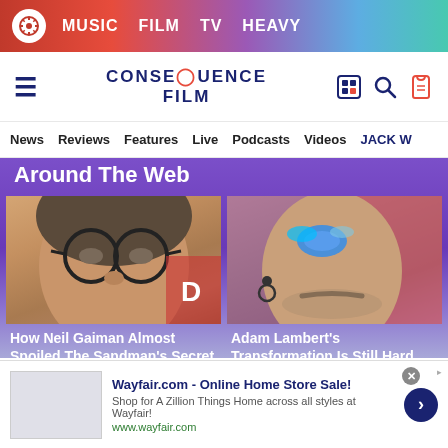MUSIC  FILM  TV  HEAVY
[Figure (screenshot): Consequence Film website navigation bar with logo, hamburger menu, search and tag icons]
News  Reviews  Features  Live  Podcasts  Videos  JACK W
Around The Web
[Figure (photo): Close-up photo of Neil Gaiman wearing round glasses]
[Figure (photo): Close-up photo of Adam Lambert with glittery eye makeup]
How Neil Gaiman Almost Spoiled The Sandman's Secret
Adam Lambert's Transformation Is Still Hard For Fans To Swallow
Wayfair.com - Online Home Store Sale!
Shop for A Zillion Things Home across all styles at Wayfair!
www.wayfair.com